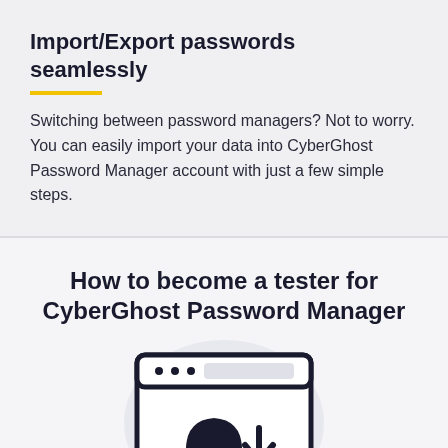Import/Export passwords seamlessly
Switching between password managers? Not to worry. You can easily import your data into CyberGhost Password Manager account with just a few simple steps.
How to become a tester for CyberGhost Password Manager
[Figure (illustration): Browser window icon with a ghost/lock character and a download arrow, on a circular light background. Represents the CyberGhost Password Manager tester concept.]